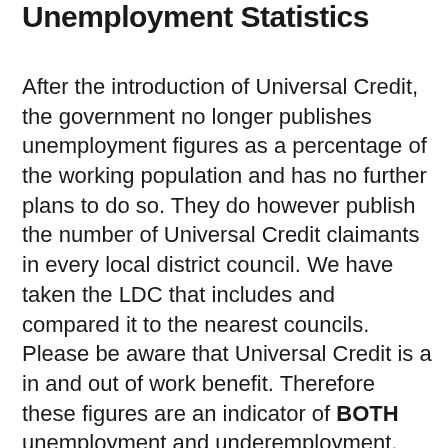Unemployment Statistics
After the introduction of Universal Credit, the government no longer publishes unemployment figures as a percentage of the working population and has no further plans to do so. They do however publish the number of Universal Credit claimants in every local district council. We have taken the LDC that includes and compared it to the nearest councils. Please be aware that Universal Credit is a in and out of work benefit. Therefore these figures are an indicator of BOTH unemployment and underemployment.